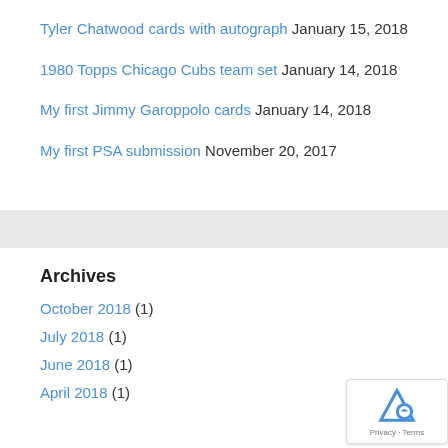Tyler Chatwood cards with autograph January 15, 2018
1980 Topps Chicago Cubs team set January 14, 2018
My first Jimmy Garoppolo cards January 14, 2018
My first PSA submission November 20, 2017
Archives
October 2018 (1)
July 2018 (1)
June 2018 (1)
April 2018 (1)